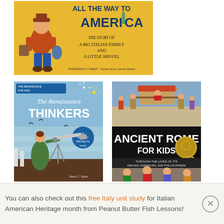[Figure (illustration): Book cover: 'All the Way to America - The Story of a Big Italian Family and a Little Shovel'. Yellow background with cartoon illustration of a man in travel clothes carrying luggage, Statue of Liberty visible.]
[Figure (illustration): Book cover: 'The Renaissance Thinkers' with subtitle related to history projects. Features illustration of a woman looking through a telescope at the sea, blue and striped background.]
[Figure (illustration): Book cover: 'Ancient Rome for Kids - Through the Lives of Its Heroes, Emperors, and Philosophers'. Black background with Roman coin, historical painting of Roman scene with figures.]
You can also check out this free Italy unit study for Italian American Heritage month from Peanut Butter Fish Lessons!